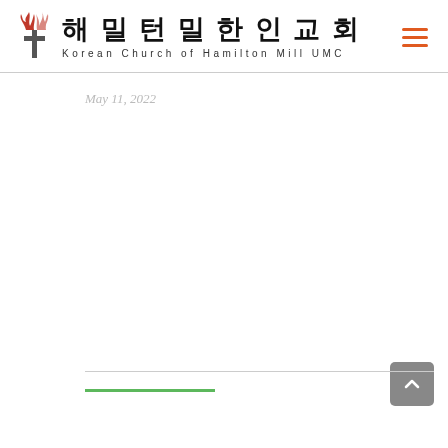해밀턴밀한인교회 Korean Church of Hamilton Mill UMC
May 11, 2022